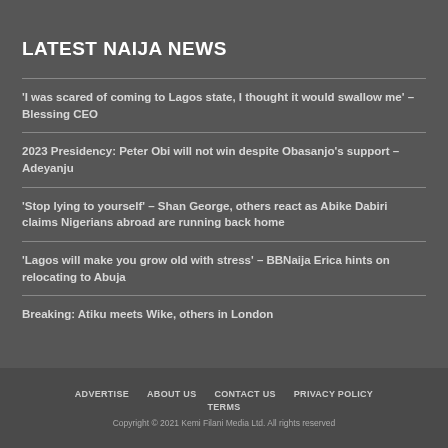LATEST NAIJA NEWS
'I was scared of coming to Lagos state, I thought it would swallow me' – Blessing CEO
2023 Presidency: Peter Obi will not win despite Obasanjo's support – Adeyanju
'Stop lying to yourself' – Shan George, others react as Abike Dabiri claims Nigerians abroad are running back home
'Lagos will make you grow old with stress' – BBNaija Erica hints on relocating to Abuja
Breaking: Atiku meets Wike, others in London
ADVERTISE   ABOUT US   CONTACT US   PRIVACY POLICY   TERMS   Copyright © 2021 Kemi Filani Media Ltd. All rights reserved